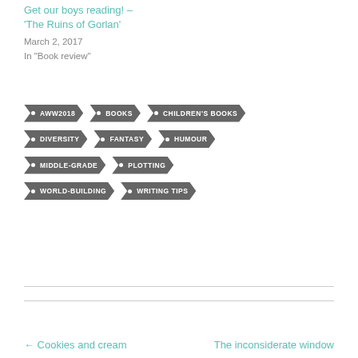Get our boys reading! – 'The Ruins of Gorlan'
March 2, 2017
In "Book review"
AWW2018
BOOKS
CHILDREN'S BOOKS
DIVERSITY
FANTASY
HUMOUR
MIDDLE-GRADE
PLOTTING
WORLD-BUILDING
WRITING TIPS
← Cookies and cream
The inconsiderate window